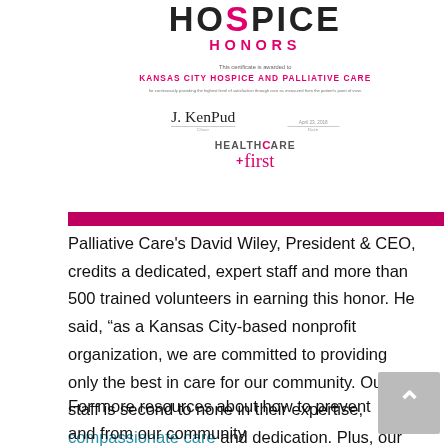[Figure (illustration): Hospice Honors certificate from Healthcare First awarded to Kansas City Hospice and Palliative Care, with signatures and Healthcare First logo, followed by a pink/magenta bar.]
City Hospice &
Palliative Care's David Wiley, President & CEO, credits a dedicated, expert staff and more than 500 trained volunteers in earning this honor. He said, “as a Kansas City-based nonprofit organization, we are committed to providing only the best in care for our community. Our staff is second to none in their expertise, compassionate care and dedication. Plus, our amazing volunteers round out services that focus on quality of life and helping families through very stressful times.”
For more resources about how to prevent and from our community